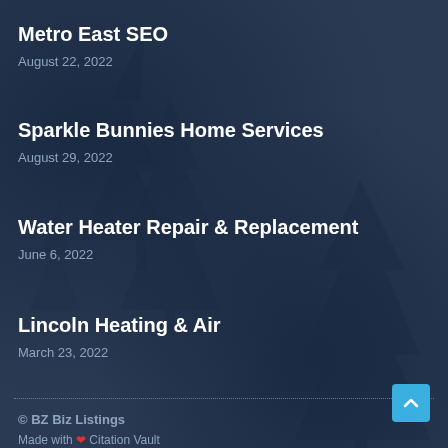Metro East SEO
August 22, 2022
Sparkle Bunnies Home Services
August 29, 2022
Water Heater Repair & Replacement
June 6, 2022
Lincoln Heating & Air
March 23, 2022
© BZ Biz Listings
Made with ❤ Citation Vault